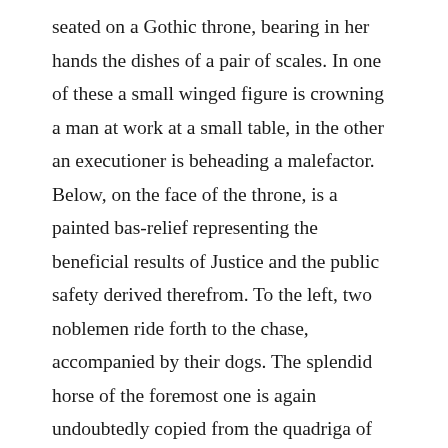seated on a Gothic throne, bearing in her hands the dishes of a pair of scales. In one of these a small winged figure is crowning a man at work at a small table, in the other an executioner is beheading a malefactor. Below, on the face of the throne, is a painted bas-relief representing the beneficial results of Justice and the public safety derived therefrom. To the left, two noblemen ride forth to the chase, accompanied by their dogs. The splendid horse of the foremost one is again undoubtedly copied from the quadriga of St. Mark's. In the centre, a figure is engaged in dancing to the accompaniment of castanets and a tambourine played by two girls. To the right are two more riders. Confronting this fine work is Giotto's representation of Injustice. Dressed in the costume of a noble, he sits in the arched entrance of a ruined tower in the middle of a wood